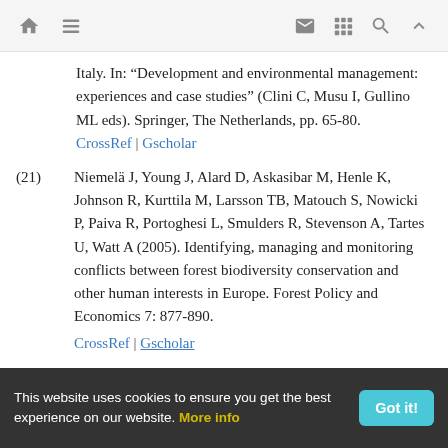[navigation bar with home, menu, mail, grid, search, up icons]
Italy. In: “Development and environmental management: experiences and case studies” (Clini C, Musu I, Gullino ML eds). Springer, The Netherlands, pp. 65-80.
CrossRef | Gscholar
(21) Niemelä J, Young J, Alard D, Askasibar M, Henle K, Johnson R, Kurttila M, Larsson TB, Matouch S, Nowicki P, Paiva R, Portoghesi L, Smulders R, Stevenson A, Tartes U, Watt A (2005). Identifying, managing and monitoring conflicts between forest biodiversity conservation and other human interests in Europe. Forest Policy and Economics 7: 877-890.
CrossRef | Gscholar
This website uses cookies to ensure you get the best experience on our website. More info   Got it!